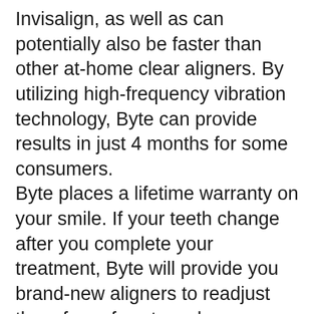Invisalign, as well as can potentially also be faster than other at-home clear aligners. By utilizing high-frequency vibration technology, Byte can provide results in just 4 months for some consumers. Byte places a lifetime warranty on your smile. If your teeth change after you complete your treatment, Byte will provide you brand-new aligners to readjust them free of cost– as long as you acquire brand-new retainers twice annually as well as wear them as routed. Byte At-Night offers a a lot more adaptable and also very discreet treatment by requiring only 10 hrs of continuous wear per day. Byte includes one set of aftercare retainers free of cost, while numerous various other house aligner companies charge added for